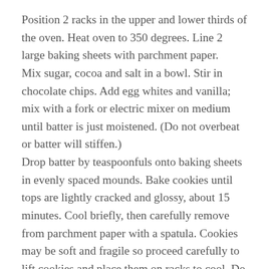Position 2 racks in the upper and lower thirds of the oven. Heat oven to 350 degrees. Line 2 large baking sheets with parchment paper.
Mix sugar, cocoa and salt in a bowl. Stir in chocolate chips. Add egg whites and vanilla; mix with a fork or electric mixer on medium until batter is just moistened. (Do not overbeat or batter will stiffen.)
Drop batter by teaspoonfuls onto baking sheets in evenly spaced mounds. Bake cookies until tops are lightly cracked and glossy, about 15 minutes. Cool briefly, then carefully remove from parchment paper with a spatula. Cookies may be soft and fragile so proceed carefully to lift cookies and place them on racks to cool. Do not wait too long to remove them from baking sheets, for they will stick, even to parchment paper. Repeat with remaining batter. Store